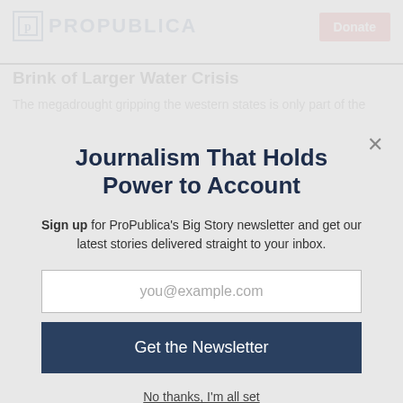ProPublica | Donate
Brink of Larger Water Crisis
The megadrought gripping the western states is only part of the
Journalism That Holds Power to Account
Sign up for ProPublica's Big Story newsletter and get our latest stories delivered straight to your inbox.
you@example.com
Get the Newsletter
No thanks, I'm all set
This site is protected by reCAPTCHA and the Google Privacy Policy and Terms of Service apply.